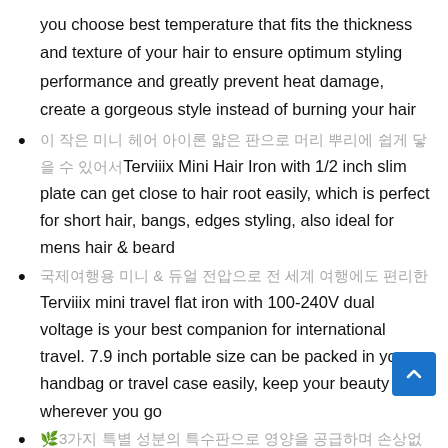you choose best temperature that fits the thickness and texture of your hair to ensure optimum styling performance and greatly prevent heat damage, create a gorgeous style instead of burning your hair
Terviiix Mini Hair Iron with 1/2 inch slim plate can get close to hair root easily, which is perfect for short hair, bangs, edges styling, also ideal for mens hair & beard
Terviiix mini travel flat iron with 100-240V dual voltage is your best companion for international travel. 7.9 inch portable size can be packed in your handbag or travel case easily, keep your beauty wherever you go
Terviiix small travel hair straightener cares your hair by adding argan oil, keratin & tourmaline into straightner plates. That makes the hair generates nourishing properties & millions of negative ions while heating up. Which can leads to frizz free & ultra sleek